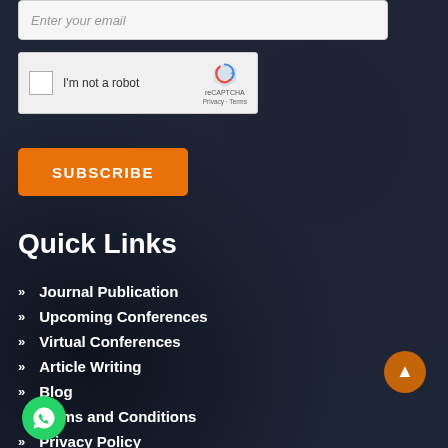Enter your email
[Figure (screenshot): reCAPTCHA widget with checkbox 'I'm not a robot' and reCAPTCHA logo with Privacy and Terms links]
SUBSCRIBE
Quick Links
Journal Publication
Upcoming Conferences
Virtual Conferences
Article Writing
Blog
Terms and Conditions
Privacy Policy